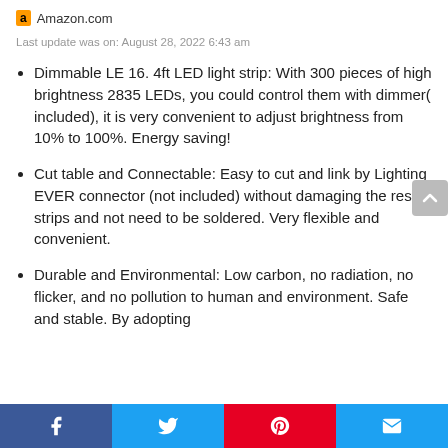Amazon.com
Last update was on: August 28, 2022 6:43 am
⁠Dimmable LE 16. 4ft LED light strip⁠: With 300 pieces of high brightness 2835 LEDs, you could control them with dimmer( included), it is very convenient to adjust brightness from 10% to 100%. Energy saving!
⁠Cut table and Connectable⁠: Easy to cut and link by Lighting EVER connector (not included) without damaging the rest strips and not need to be soldered. Very flexible and convenient.
⁠Durable and Environmental⁠: Low carbon, no radiation, no flicker, and no pollution to human and environment. Safe and stable. By adopting
Facebook | Twitter | Pinterest | Email